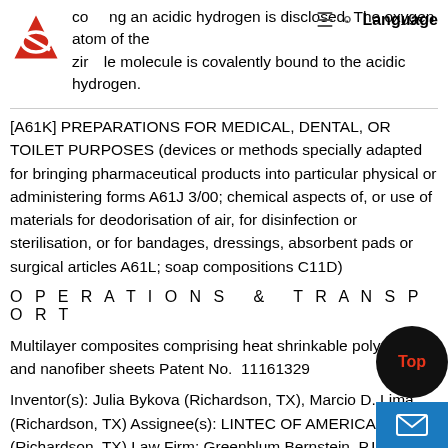comprising an acidic hydrogen is disclosed. The oxygen atom of the zirconole molecule is covalently bound to the acidic hydrogen.
[A61K] PREPARATIONS FOR MEDICAL, DENTAL, OR TOILET PURPOSES (devices or methods specially adapted for bringing pharmaceutical products into particular physical or administering forms A61J 3/00; chemical aspects of, or use of materials for deodorisation of air, for disinfection or sterilisation, or for bandages, dressings, absorbent pads or surgical articles A61L; soap compositions C11D)
O P E R A T I O N S  &  T R A N S P O R T
Multilayer composites comprising heat shrinkable polymers and nanofiber sheets Patent No.  11161329
Inventor(s): Julia Bykova (Richardson, TX), Marcio D. Lima (Richardson, TX) Assignee(s): LINTEC OF AMERICA, INC (Richardson, TX) Law Firm: Greenblum Bernstein, P.L.C. (1 offices) Application No., Date, Speed: 15950284 on 04/11/2018